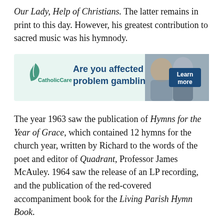Our Lady, Help of Christians. The latter remains in print to this day. However, his greatest contribution to sacred music was his hymnody.
[Figure (infographic): CatholicCare advertisement banner: green leaf logo and 'CatholicCare' brand text on left, bold blue text 'Are you affected by problem gambling?' in center, photo of two people in conversation on right, blue 'Learn more' button.]
The year 1963 saw the publication of Hymns for the Year of Grace, which contained 12 hymns for the church year, written by Richard to the words of the poet and editor of Quadrant, Professor James McAuley. 1964 saw the release of an LP recording, and the publication of the red-covered accompaniment book for the Living Parish Hymn Book.
The latter contained the music and words of a number of other hymns by Richard, together with some from his collaboration with McAuley, and many traditional Catholic